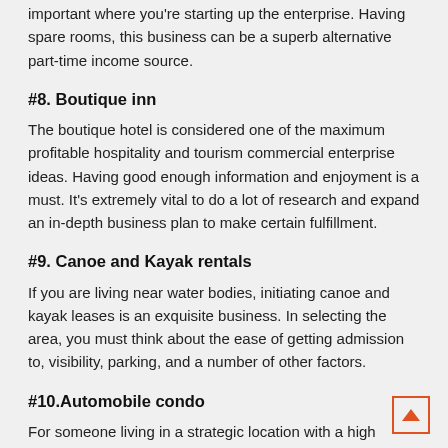important where you're starting up the enterprise. Having spare rooms, this business can be a superb alternative part-time income source.
#8. Boutique inn
The boutique hotel is considered one of the maximum profitable hospitality and tourism commercial enterprise ideas. Having good enough information and enjoyment is a must. It's extremely vital to do a lot of research and expand an in-depth business plan to make certain fulfillment.
#9. Canoe and Kayak rentals
If you are living near water bodies, initiating canoe and kayak leases is an exquisite business. In selecting the area, you must think about the ease of getting admission to, visibility, parking, and a number of other factors.
#10.Automobile condo
For someone living in a strategic location with a high density of